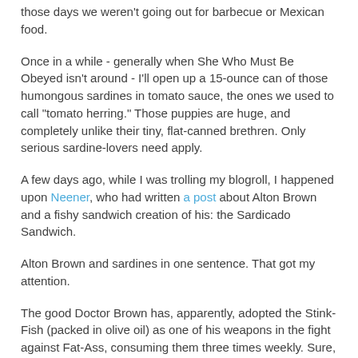those days we weren't going out for barbecue or Mexican food.
Once in a while - generally when She Who Must Be Obeyed isn't around - I'll open up a 15-ounce can of those humongous sardines in tomato sauce, the ones we used to call “tomato herring.” Those puppies are huge, and completely unlike their tiny, flat-canned brethren. Only serious sardine-lovers need apply.
A few days ago, while I was trolling my blogroll, I happened upon Neener, who had written a post about Alton Brown and a fishy sandwich creation of his: the Sardicado Sandwich.
Alton Brown and sardines in one sentence. That got my attention.
The good Doctor Brown has, apparently, adopted the Stink-Fish (packed in olive oil) as one of his weapons in the fight against Fat-Ass, consuming them three times weekly. Sure, they’re a bit oily, but it’s good oil: olive oil, which contributes to “good” cholesterol, and omega-3 fatty acids, which are